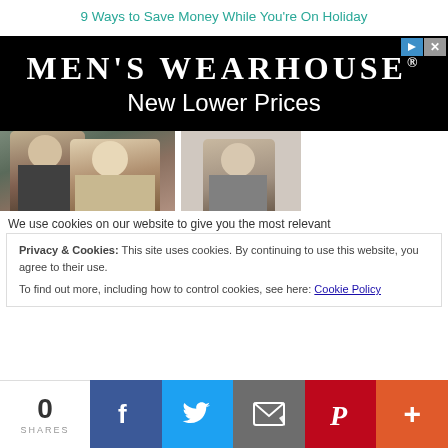9 Ways to Save Money While You're On Holiday
[Figure (advertisement): Men's Wearhouse advertisement banner with text 'MEN'S WEARHOUSE® New Lower Prices' on black background, with photos of people in suits below]
We use cookies on our website to give you the most relevant
Privacy & Cookies: This site uses cookies. By continuing to use this website, you agree to their use.
To find out more, including how to control cookies, see here: Cookie Policy
0 SHARES  [Facebook] [Twitter] [Email] [Pinterest] [More]